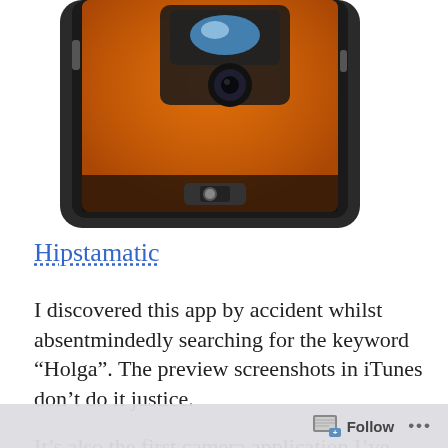[Figure (photo): Partial view of an iPhone showing the Hipstamatic camera app interface with an orange/amber background, camera viewfinder with a flash unit visible, and app UI controls at the bottom.]
Hipstamatic
I discovered this app by accident whilst absentmindedly searching for the keyword “Holga”. The preview screenshots in iTunes don’t do it justice.
It’s also the first camera application I’ve seen with in-app purchasing which made me quite
Follow ...